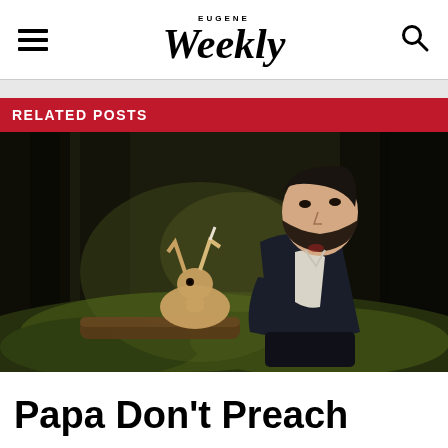EUGENE Weekly
RELATED POSTS
[Figure (photo): A bearded man in a dark blazer and white shirt sits outdoors in a forest setting next to a deer or rabbit-like animal, with trees in the background and green foliage on the ground.]
Papa Don't Preach